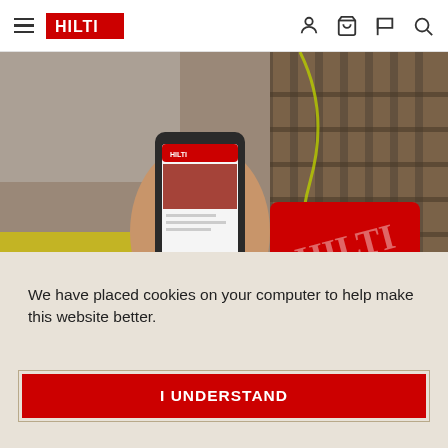Hilti navigation bar with hamburger menu, Hilti logo, and icons for account, cart, wishlist, search
[Figure (photo): A person holding a smartphone displaying the Hilti website, with red Hilti power tools and metal scaffolding/rebar visible in the background on a construction site.]
We have placed cookies on your computer to help make this website better.
I UNDERSTAND